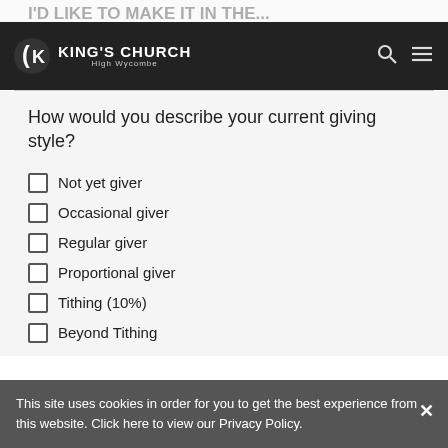I'D LIKE TO MAKE IT IN THE...
[Figure (logo): King's Church High Wycombe logo - white K icon with text 'KING'S CHURCH High Wycombe' on dark background, with search and menu icons]
How would you describe your current giving style?
Not yet giver
Occasional giver
Regular giver
Proportional giver
Tithing (10%)
Beyond Tithing
This site uses cookies in order for you to get the best experience from this website. Click here to view our Privacy Policy.